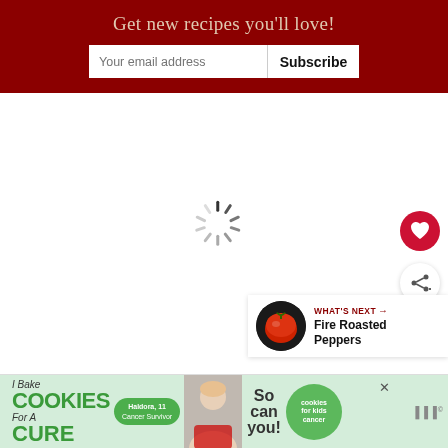Get new recipes you'll love!
Your email address | Subscribe
[Figure (other): Loading spinner (circular animated loader) centered in white content area]
[Figure (other): Red circular heart/favorite button on right side]
[Figure (other): White circular share button with add icon on right side]
WHAT'S NEXT → Fire Roasted Peppers
[Figure (other): Advertisement banner: I Bake COOKIES For A CURE - Haldora, 11 Cancer Survivor - So can you! - cookies for kids cancer logo]